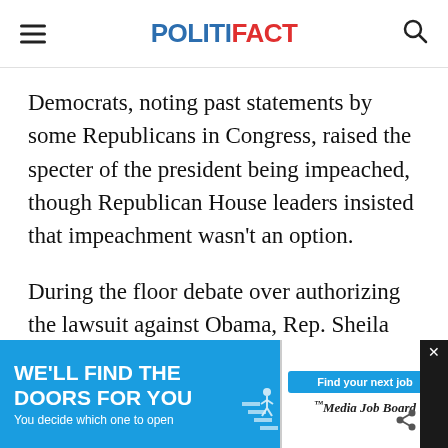POLITIFACT
Democrats, noting past statements by some Republicans in Congress, raised the specter of the president being impeached, though Republican House leaders insisted that impeachment wasn't an option.
During the floor debate over authorizing the lawsuit against Obama, Rep. Sheila Jackson Lee, D-Texas, suggested that Democrats had the moral high ground.
Even though some Democrats had though... Presi...
[Figure (screenshot): Advertisement banner: 'WE'LL FIND THE DOORS FOR YOU. You decide which one to open.' with Media Job Board logo and 'Find your next job' button.]